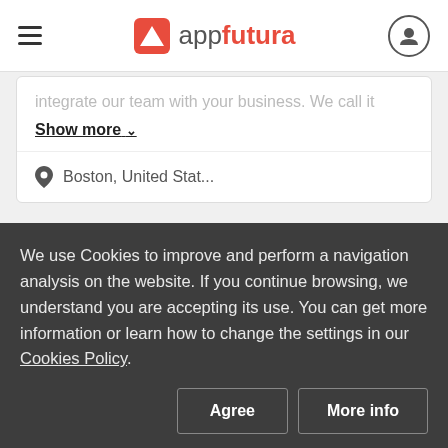appfutura
integrate our team with your business. We call it
Show more
Boston, United Stat...
Wakefly, Inc. 0.0 0 Reviews
We use Cookies to improve and perform a navigation analysis on the website. If you continue browsing, we understand you are accepting its use. You can get more information or learn how to change the settings in our Cookies Policy.